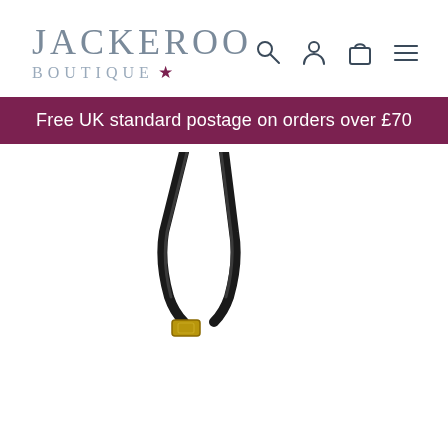[Figure (logo): Jackeroo Boutique logo with star]
[Figure (other): Navigation icons: search, account, bag, menu]
Free UK standard postage on orders over £70
[Figure (photo): Close-up of a black leather bag strap with gold buckle detail on white background]